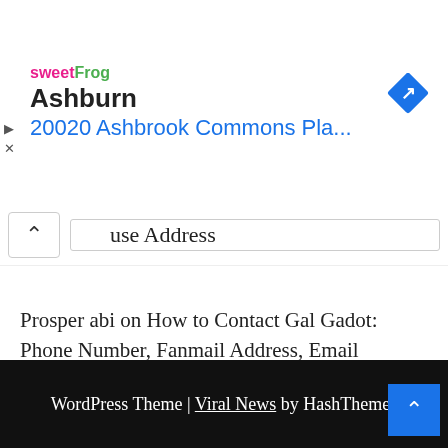[Figure (screenshot): Advertisement banner with sweetFrog logo on the left, 'Ashburn' in bold black text, '20020 Ashbrook Commons Pla...' in blue text, and a blue navigation diamond icon on the right. Small play and close icons on far left.]
use Address
Prosper abi on How to Contact Gal Gadot: Phone Number, Fanmail Address, Email Address, Whatsapp, House Address
ibrahim saheed on How to Contact Bella Shmurda: Phone Number, Fanmail Address, Email Address, Whatsapp, House Address
WordPress Theme | Viral News by HashThemes